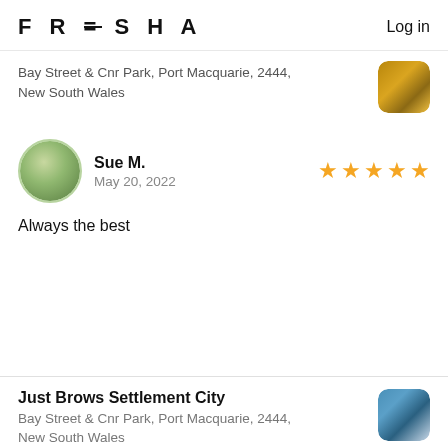FRESHA  Log in
Bay Street & Cnr Park, Port Macquarie, 2444, New South Wales
Sue M.
May 20, 2022
Always the best
Just Brows Settlement City
Bay Street & Cnr Park, Port Macquarie, 2444, New South Wales